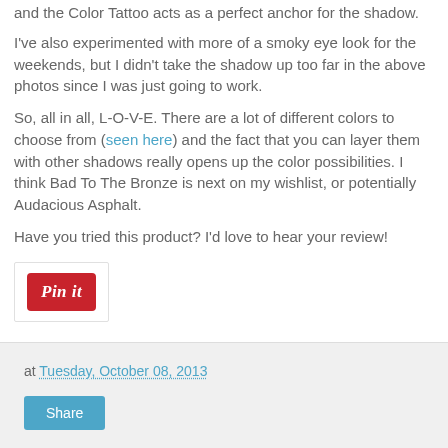and the Color Tattoo acts as a perfect anchor for the shadow.
I've also experimented with more of a smoky eye look for the weekends, but I didn't take the shadow up too far in the above photos since I was just going to work.
So, all in all, L-O-V-E. There are a lot of different colors to choose from (seen here) and the fact that you can layer them with other shadows really opens up the color possibilities. I think Bad To The Bronze is next on my wishlist, or potentially Audacious Asphalt.
Have you tried this product? I'd love to hear your review!
[Figure (other): Pin it button - red Pinterest style button with italic text 'Pin it']
at Tuesday, October 08, 2013  Share